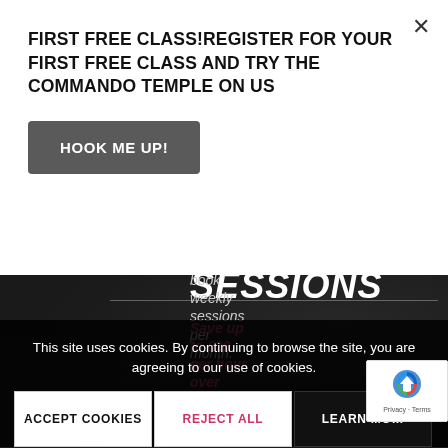FIRST FREE CLASS!REGISTER FOR YOUR FIRST FREE CLASS AND TRY THE COMMANDO TEMPLE ON US
HOOK ME UP!
MONTHLY SESSIONS
Block-book weekly sessions per month.
Save up to £20 per hour over individual sessions
This site uses cookies. By continuing to browse the site, you are agreeing to our use of cookies.
ACCEPT COOKIES
REJECT ALL
LEARN MORE